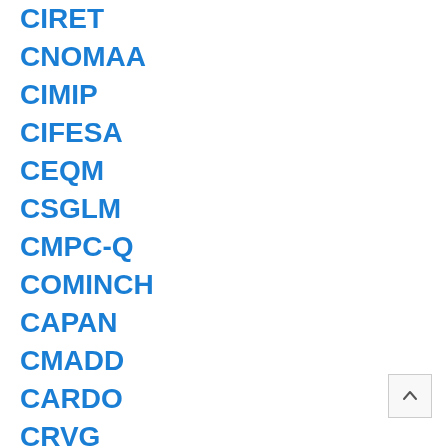CIRET
CNOMAA
CIMIP
CIFESA
CEQM
CSGLM
CMPC-Q
COMINCH
CAPAN
CMADD
CARDO
CRVG
CRTO